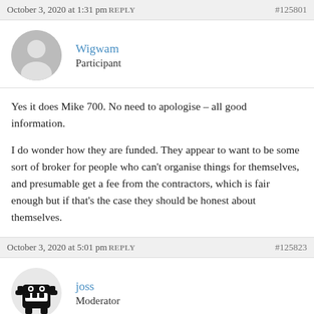October 3, 2020 at 1:31 pm REPLY #125801
[Figure (illustration): Gray circular avatar with silhouette of a person]
Wigwam
Participant
Yes it does Mike 700. No need to apologise – all good information.

I do wonder how they are funded.  They appear to want to be some sort of broker for people who can't organise things for themselves,  and presumable get a fee from the contractors, which is fair enough but if that's the case they should be honest about themselves.
October 3, 2020 at 5:01 pm REPLY #125823
[Figure (illustration): Black monster/domo avatar icon]
joss
Moderator
As Wigwan said Mike, there is no need to apologies. It